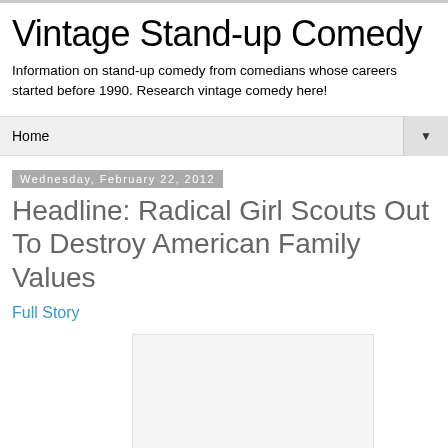Vintage Stand-up Comedy
Information on stand-up comedy from comedians whose careers started before 1990. Research vintage comedy here!
Home
Wednesday, February 22, 2012
Headline: Radical Girl Scouts Out To Destroy American Family Values
Full Story
[Figure (other): Image placeholder box (white/light grey rectangle)]